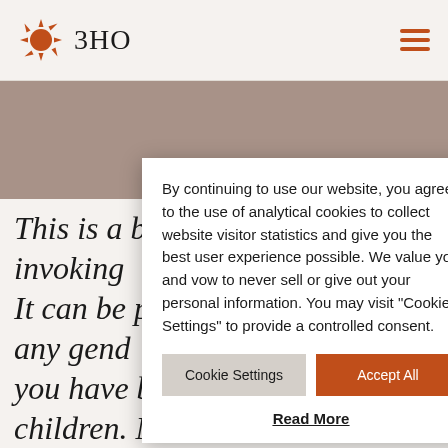3HO
[Figure (other): Taupe/rose hero banner image area]
This is a b... invoking ... It can be p... any gend... you have biological children. Move
By continuing to use our website, you agree to the use of analytical cookies to collect website visitor statistics and give you the best user experience possible. We value you and vow to never sell or give out your personal information. You may visit "Cookie Settings" to provide a controlled consent.
Cookie Settings
Accept All
Read More